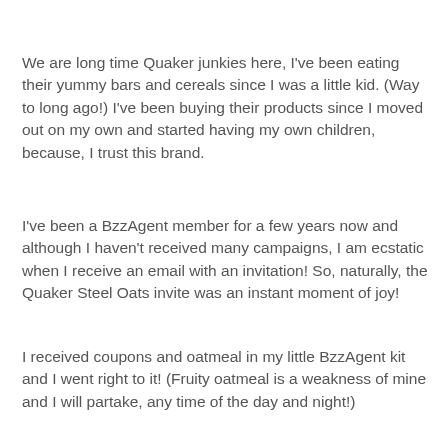We are long time Quaker junkies here, I've been eating their yummy bars and cereals since I was a little kid. (Way to long ago!) I've been buying their products since I moved out on my own and started having my own children, because, I trust this brand.
I've been a BzzAgent member for a few years now and although I haven't received many campaigns, I am ecstatic when I receive an email with an invitation! So, naturally, the Quaker Steel Oats invite was an instant moment of joy!
I received coupons and oatmeal in my little BzzAgent kit and I went right to it! (Fruity oatmeal is a weakness of mine and I will partake, any time of the day and night!)
My pantry is typically stocked with Quaker Dinosaur Eggs, Strawberries and Cream, Blueberries and Cream, Maple Brown Sugar, Apples and Cinnamon and for my boys, the...